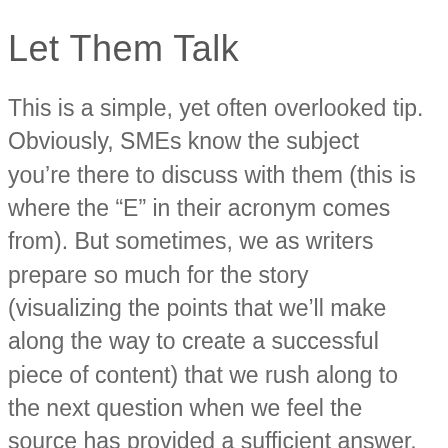Let Them Talk
This is a simple, yet often overlooked tip. Obviously, SMEs know the subject you’re there to discuss with them (this is where the “E” in their acronym comes from). But sometimes, we as writers prepare so much for the story (visualizing the points that we’ll make along the way to create a successful piece of content) that we rush along to the next question when we feel the source has provided a sufficient answer. Don’t do this. If your time with the SME allows, let them talk until they feel they’ve fully covered a point. Listen for opportunities to ask follow-up questions. If they reference an anecdote,